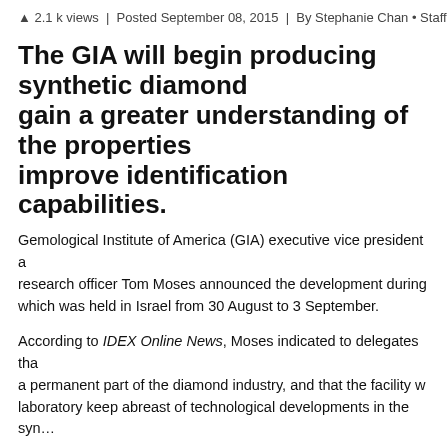2.1 k views | Posted September 08, 2015 | By Stephanie Chan • Staff Journ…
The GIA will begin producing synthetic diamonds to gain a greater understanding of the properties and improve identification capabilities.
Gemological Institute of America (GIA) executive vice president and research officer Tom Moses announced the development during a conference which was held in Israel from 30 August to 3 September.
According to IDEX Online News, Moses indicated to delegates that synthetic diamonds had become a permanent part of the diamond industry, and that the facility would help the laboratory keep abreast of technological developments in the synthetic sector.
According to IDEX Online News, Moses indicated to delegates that lab-grown stones had become a permanent part of the diamond industry and that the facility would help the grading laboratory keep abreast of technological developments in the synthetic sector.
According to IDEX Online News, Moses indicated to delegates that lab-grown stones had become a permanent part of the diamond industry…